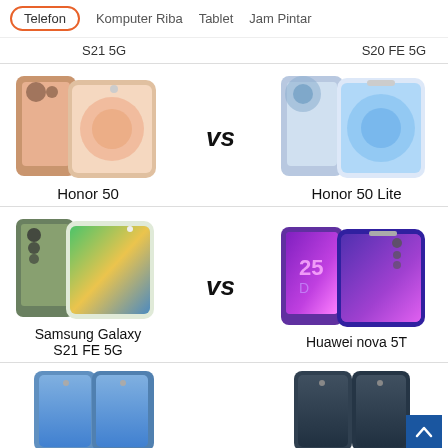Telefon | Komputer Riba | Tablet | Jam Pintar
S21 5G vs S20 FE 5G
[Figure (photo): Honor 50 smartphone product images (two views, pink/gold color)]
Honor 50
[Figure (photo): Honor 50 Lite smartphone product images (two views, blue/white color)]
Honor 50 Lite
[Figure (photo): Samsung Galaxy S21 FE 5G smartphone product images (two views, green color)]
Samsung Galaxy S21 FE 5G
[Figure (photo): Huawei nova 5T smartphone product images (two views, purple color)]
Huawei nova 5T
[Figure (photo): Partial view of iPhone smartphone product images at bottom of page (blue color)]
[Figure (photo): Partial view of second iPhone product images at bottom right (dark/teal color)]